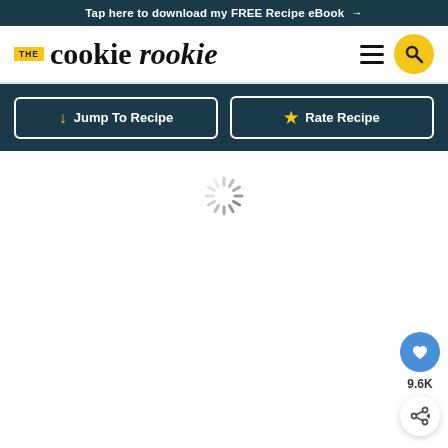Tap here to download my FREE Recipe eBook →
[Figure (logo): The Cookie Rookie logo with yellow THE badge, cookie in sans-serif and rookie in script/italic, hamburger menu icon, and yellow search button circle]
↓ Jump To Recipe
★ Rate Recipe
[Figure (other): Loading spinner graphic (starburst/radial lines in gray)]
[Figure (other): Blue heart/save button with count 9.6K and share button below]
9.6K